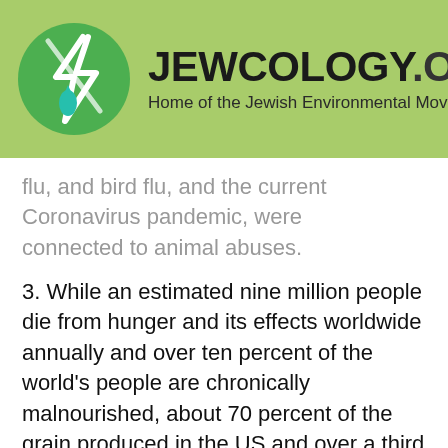[Figure (logo): Jewcology.org logo — green circle with white lightning bolt and water drop, site title JEWCOLOGY.ORG and subtitle Home of the Jewish Environmental Movement on a light green banner]
…g… y… y… y…
flu, and bird flu, and the current Coronavirus pandemic, were connected to animal abuses.
3. While an estimated nine million people die from hunger and its effects worldwide annually and over ten percent of the world's people are chronically malnourished, about 70 percent of the grain produced in the US and over a third produced worldwide are used to raise farmed animals. Making the situation even more shameful, healthy foods, like corn, oats, and soy, high in fiber and